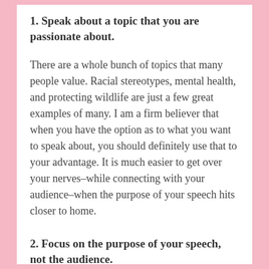1. Speak about a topic that you are passionate about.
There are a whole bunch of topics that many people value. Racial stereotypes, mental health, and protecting wildlife are just a few great examples of many. I am a firm believer that when you have the option as to what you want to speak about, you should definitely use that to your advantage. It is much easier to get over your nerves–while connecting with your audience–when the purpose of your speech hits closer to home.
2. Focus on the purpose of your speech, not the audience.
What throws a lot of people off when it comes to speaking in public is the amount of people sitting in